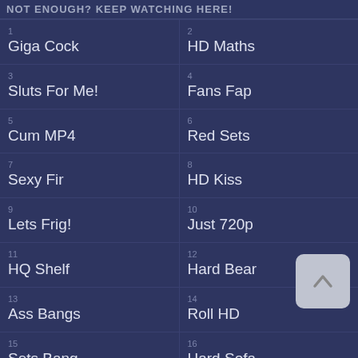NOT ENOUGH? KEEP WATCHING HERE!
1 Giga Cock
2 HD Maths
3 Sluts For Me!
4 Fans Fap
5 Cum MP4
6 Red Sets
7 Sexy Fir
8 HD Kiss
9 Lets Frig!
10 Just 720p
11 HQ Shelf
12 Hard Bear
13 Ass Bangs
14 Roll HD
15 Sets Bang
16 Hard Sofa